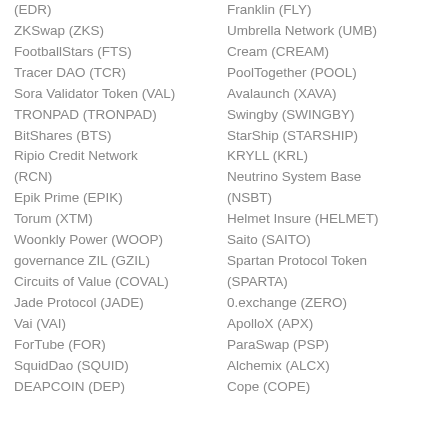(EDR)
Franklin (FLY)
ZKSwap (ZKS)
Umbrella Network (UMB)
FootballStars (FTS)
Cream (CREAM)
Tracer DAO (TCR)
PoolTogether (POOL)
Sora Validator Token (VAL)
Avalaunch (XAVA)
TRONPAD (TRONPAD)
Swingby (SWINGBY)
BitShares (BTS)
StarShip (STARSHIP)
Ripio Credit Network (RCN)
KRYLL (KRL)
Epik Prime (EPIK)
Neutrino System Base (NSBT)
Torum (XTM)
Helmet Insure (HELMET)
Woonkly Power (WOOP)
Saito (SAITO)
governance ZIL (GZIL)
Spartan Protocol Token (SPARTA)
Circuits of Value (COVAL)
0.exchange (ZERO)
Jade Protocol (JADE)
ApolloX (APX)
Vai (VAI)
ParaSwap (PSP)
ForTube (FOR)
Alchemix (ALCX)
SquidDao (SQUID)
Cope (COPE)
DEAPCOIN (DEP)